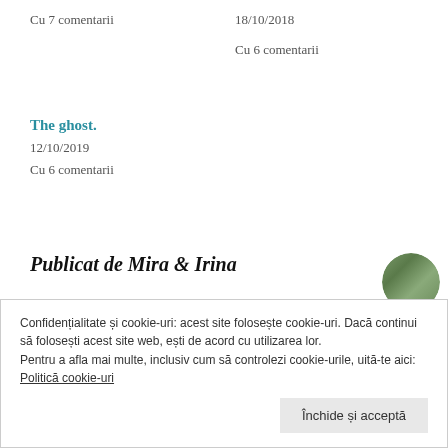Cu 7 comentarii
18/10/2018
Cu 6 comentarii
The ghost.
12/10/2019
Cu 6 comentarii
Publicat de Mira & Irina
Confidențialitate și cookie-uri: acest site folosește cookie-uri. Dacă continui să folosești acest site web, ești de acord cu utilizarea lor.
Pentru a afla mai multe, inclusiv cum să controlezi cookie-urile, uită-te aici: Politică cookie-uri